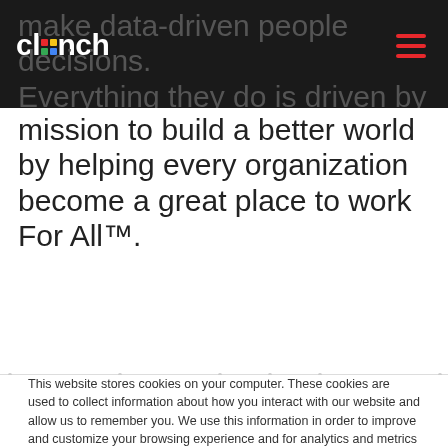clinch (logo with colored dots)
make data-driven people decisions. Everything they do is driven by the mission to build a better world by helping every organization become a great place to work For All™.
This website stores cookies on your computer. These cookies are used to collect information about how you interact with our website and allow us to remember you. We use this information in order to improve and customize your browsing experience and for analytics and metrics about our visitors both on this website and other media. To find out more about the cookies we use, see our Privacy Policy
If you decline, your information won't be tracked when you visit this website. A single cookie will be used in your browser to remember your preference not to be tracked.
Accept All
Decline All